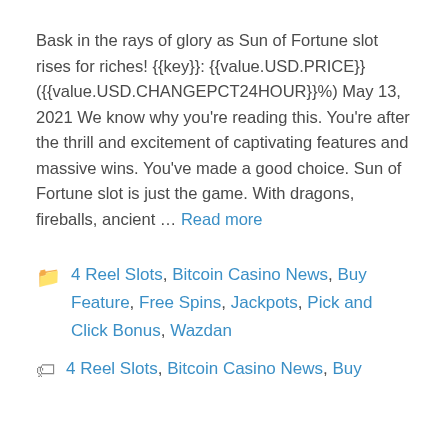Bask in the rays of glory as Sun of Fortune slot rises for riches! {{key}}: {{value.USD.PRICE}} ({{value.USD.CHANGEPCT24HOUR}}%) May 13, 2021 We know why you're reading this. You're after the thrill and excitement of captivating features and massive wins. You've made a good choice. Sun of Fortune slot is just the game. With dragons, fireballs, ancient … Read more
Categories: 4 Reel Slots, Bitcoin Casino News, Buy Feature, Free Spins, Jackpots, Pick and Click Bonus, Wazdan
Tags: 4 Reel Slots, Bitcoin Casino News, Buy